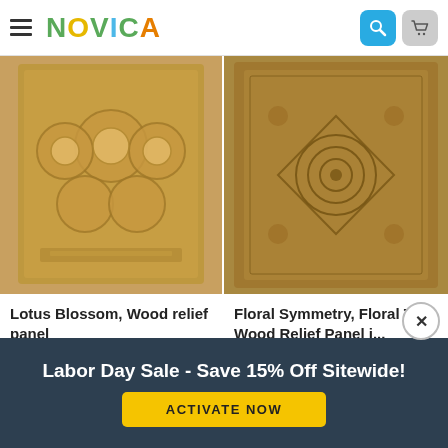NOVICA
[Figure (photo): Carved wood relief panel showing lotus blossom floral pattern, warm golden-brown wood, framed panel]
[Figure (photo): Carved teak wood relief panel with floral symmetry and spiral motifs, dark golden-brown finish]
Lotus Blossom, Wood relief panel
Ketut Sandi
★★★★★ (32)
$169.99  $144.49
Floral Symmetry, Floral Teak Wood Relief Panel i...
Tay Nontawat
★★★★★ (18)
$339.99  $254.99
Labor Day Sale - Save 15% Off Sitewide! ACTIVATE NOW